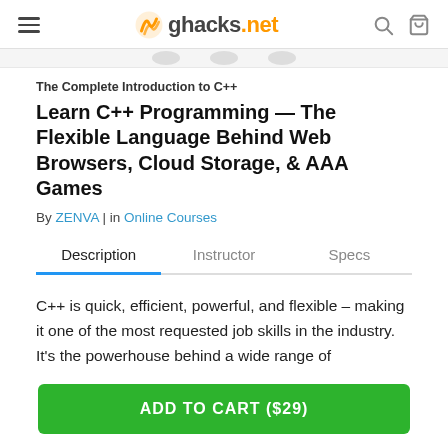ghacks.net
The Complete Introduction to C++
Learn C++ Programming — The Flexible Language Behind Web Browsers, Cloud Storage, & AAA Games
By ZENVA | in Online Courses
Description | Instructor | Specs
C++ is quick, efficient, powerful, and flexible – making it one of the most requested job skills in the industry. It's the powerhouse behind a wide range of technologies – including web browsers, operating systems, cloud storage, and even AAA games, and is used to create
ADD TO CART ($29)